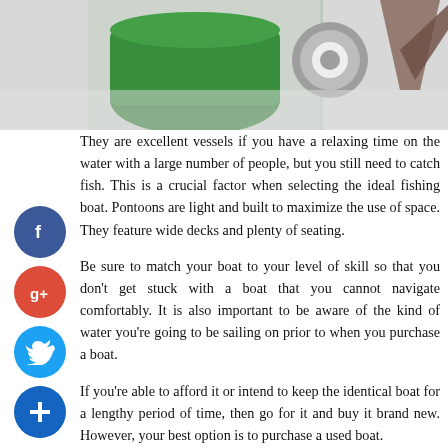[Figure (photo): Top portion of a photo showing boating/fishing equipment including a green bucket, stainless steel fitting, and what appears to be a wooden V-shaped object on a white surface.]
They are excellent vessels if you have a relaxing time on the water with a large number of people, but you still need to catch fish. This is a crucial factor when selecting the ideal fishing boat. Pontoons are light and built to maximize the use of space. They feature wide decks and plenty of seating.
Be sure to match your boat to your level of skill so that you don't get stuck with a boat that you cannot navigate comfortably. It is also important to be aware of the kind of water you're going to be sailing on prior to when you purchase a boat.
If you're able to afford it or intend to keep the identical boat for a lengthy period of time, then go for it and buy it brand new. However, your best option is to purchase a used boat.